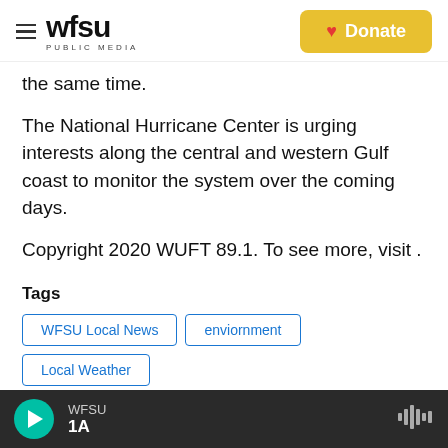WFSU PUBLIC MEDIA | Donate
the same time.
The National Hurricane Center is urging interests along the central and western Gulf coast to monitor the system over the coming days.
Copyright 2020 WUFT 89.1. To see more, visit .
Tags  WFSU Local News  enviornment  Local Weather
[Figure (screenshot): Social sharing buttons: Facebook (f), Twitter (bird), LinkedIn (in), Email (envelope icon)]
WFSU 1A — audio player bar